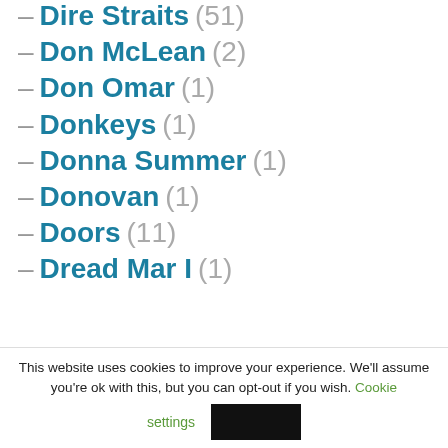– Dire Straits (51)
– Don McLean (2)
– Don Omar (1)
– Donkeys (1)
– Donna Summer (1)
– Donovan (1)
– Doors (11)
– Dread Mar I (1)
This website uses cookies to improve your experience. We'll assume you're ok with this, but you can opt-out if you wish. Cookie settings